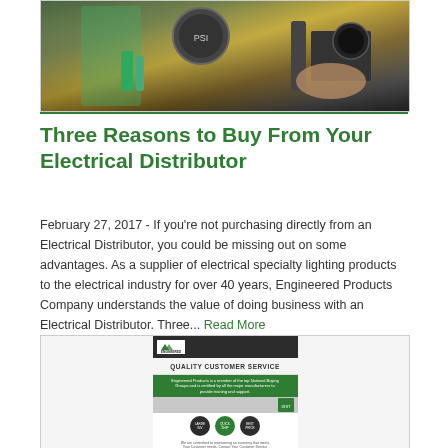[Figure (photo): Photo of a person working on electrical equipment, with tools and gauges visible]
Three Reasons to Buy From Your Electrical Distributor
February 27, 2017 - If you're not purchasing directly from an Electrical Distributor, you could be missing out on some advantages. As a supplier of electrical specialty lighting products to the electrical industry for over 40 years, Engineered Products Company understands the value of doing business with an Electrical Distributor. Three... Read More
[Figure (infographic): Engineered Products Co. Quality Customer Service infographic showing services, circular icons, and contact information]